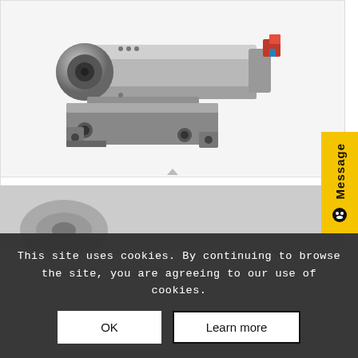[Figure (photo): Photo of a metallic cylindrical motor or actuator component (TAS18-BKT1) with mounting bracket, shown on white background.]
TAS18-BKT1
£27.50 ex VAT
Add to basket
Show Details
Message
This site uses cookies. By continuing to browse the site, you are agreeing to our use of cookies.
OK
Learn more